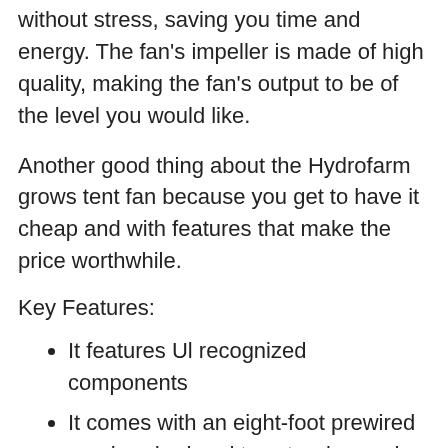without stress, saving you time and energy. The fan's impeller is made of high quality, making the fan's output to be of the level you would like.
Another good thing about the Hydrofarm grows tent fan because you get to have it cheap and with features that make the price worthwhile.
Key Features:
It features Ul recognized components
It comes with an eight-foot prewired one hundred and twenty wire cord